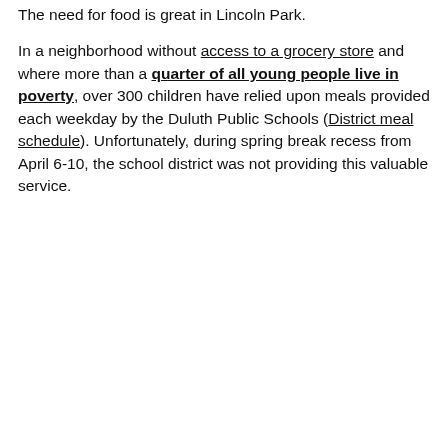The need for food is great in Lincoln Park.

In a neighborhood without access to a grocery store and where more than a quarter of all young people live in poverty, over 300 children have relied upon meals provided each weekday by the Duluth Public Schools (District meal schedule). Unfortunately, during spring break recess from April 6-10, the school district was not providing this valuable service.